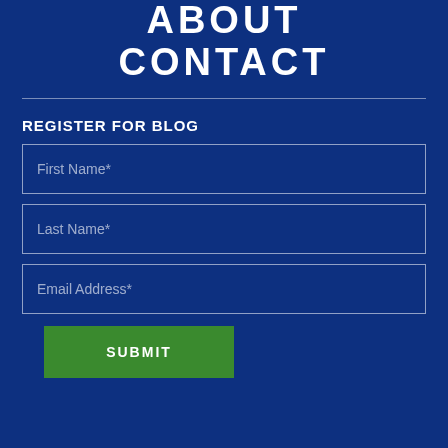ABOUT
CONTACT
REGISTER FOR BLOG
First Name*
Last Name*
Email Address*
SUBMIT